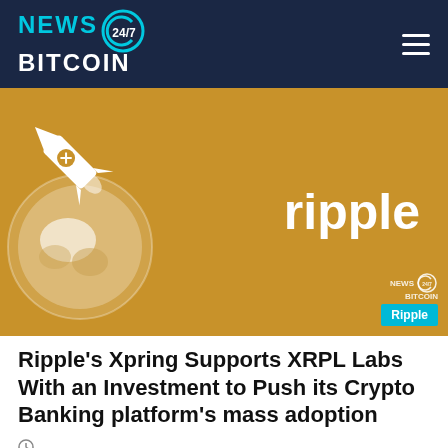NewsBitcoin 24/7
[Figure (illustration): Ripple branded hero image with golden/yellow background showing a rocket launching from Earth on the left and large white 'ripple' text on the right, with NewsBitcoin 24/7 watermark and a cyan 'Ripple' tag in the bottom right corner.]
Ripple's Xpring Supports XRPL Labs With an Investment to Push its Crypto Banking platform's mass adoption
clock/time icon
[Figure (photo): Dark/dim image strip at the bottom of the page, partially visible.]